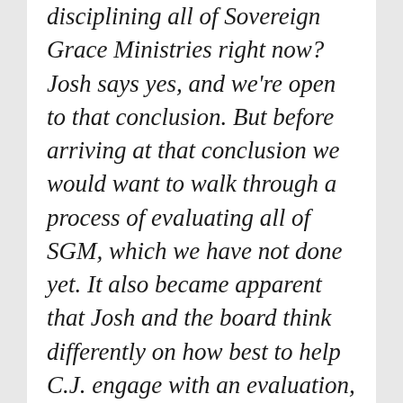disciplining all of Sovereign Grace Ministries right now? Josh says yes, and we're open to that conclusion. But before arriving at that conclusion we would want to walk through a process of evaluating all of SGM, which we have not done yet. It also became apparent that Josh and the board think differently on how best to help C.J. engage with an evaluation, and how the board should exercise leadership as that process unfolds. These differences in our thinking are important and it recently became clear that the